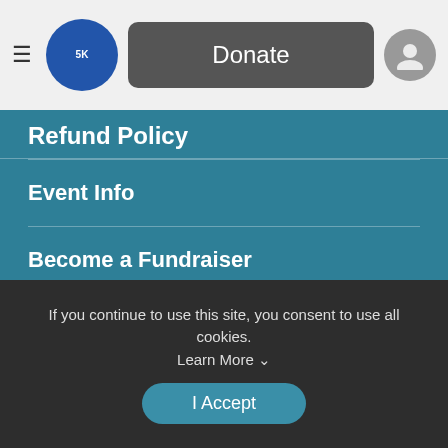Donate
Refund Policy
Event Info
Become a Fundraiser
Photos
Find a Participant
Results
If you continue to use this site, you consent to use all cookies. Learn More
I Accept